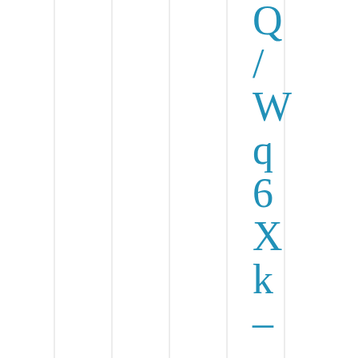[Figure (other): Page with vertical grid lines on left portion and a vertical sequence of teal/blue characters on the right side: Q / W q 6 X k – q D v N I / A]
Q / W q 6 X k – q D v N I / A